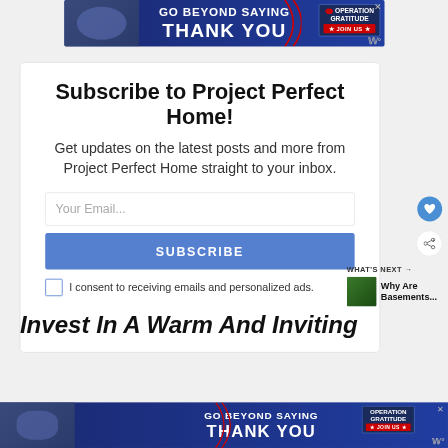[Figure (photo): Advertisement banner: GO BEYOND SAYING THANK YOU – Operation Gratitude JOIN US]
Subscribe to Project Perfect Home!
Get updates on the latest posts and more from Project Perfect Home straight to your inbox.
Your Email...
SUBSCRIBE
I consent to receiving emails and personalized ads.
WHAT'S NEXT → Why Are Basements...
Invest In A Warm And Inviting
[Figure (photo): Bottom advertisement banner: GO BEYOND SAYING THANK YOU – Operation Gratitude JOIN US]